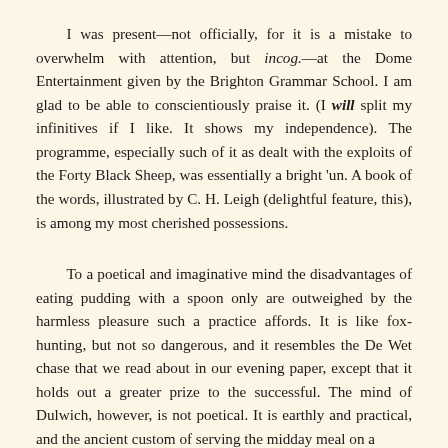I was present—not officially, for it is a mistake to overwhelm with attention, but incog.—at the Dome Entertainment given by the Brighton Grammar School. I am glad to be able to conscientiously praise it. (I will split my infinitives if I like. It shows my independence). The programme, especially such of it as dealt with the exploits of the Forty Black Sheep, was essentially a bright 'un. A book of the words, illustrated by C. H. Leigh (delightful feature, this), is among my most cherished possessions.
To a poetical and imaginative mind the disadvantages of eating pudding with a spoon only are outweighed by the harmless pleasure such a practice affords. It is like fox-hunting, but not so dangerous, and it resembles the De Wet chase that we read about in our evening paper, except that it holds out a greater prize to the successful. The mind of Dulwich, however, is not poetical. It is earthly and practical, and the ancient custom of serving the midday meal on a